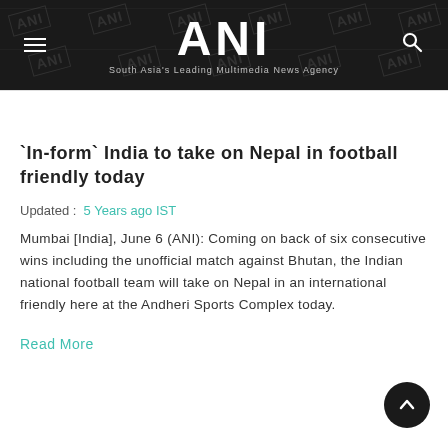ANI — South Asia's Leading Multimedia News Agency
`In-form` India to take on Nepal in football friendly today
Updated : 5 Years ago IST
Mumbai [India], June 6 (ANI): Coming on back of six consecutive wins including the unofficial match against Bhutan, the Indian national football team will take on Nepal in an international friendly here at the Andheri Sports Complex today.
Read More